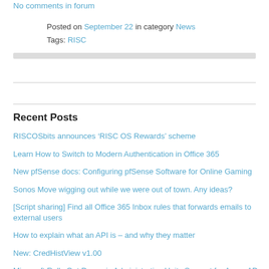No comments in forum
Posted on September 22 in category News
Tags: RISC
Recent Posts
RISCOSbits announces ‘RISC OS Rewards’ scheme
Learn How to Switch to Modern Authentication in Office 365
New pfSense docs: Configuring pfSense Software for Online Gaming
Sonos Move wigging out while we were out of town. Any ideas?
[Script sharing] Find all Office 365 Inbox rules that forwards emails to external users
How to explain what an API is – and why they matter
New: CredHistView v1.00
Microsoft Rolls Out Dynamic Administrative Units Support for Azure AD